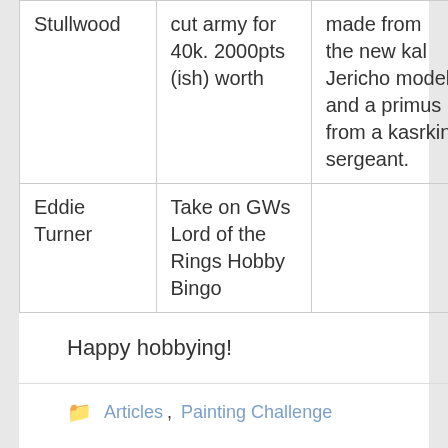| Name | Goal | Notes |
| --- | --- | --- |
| Stullwood | cut army for 40k. 2000pts (ish) worth | made from the new kal Jericho model and a primus from a kasrkin sergeant. |
| Eddie Turner | Take on GWs Lord of the Rings Hobby Bingo |  |
Happy hobbying!
Articles, Painting Challenge